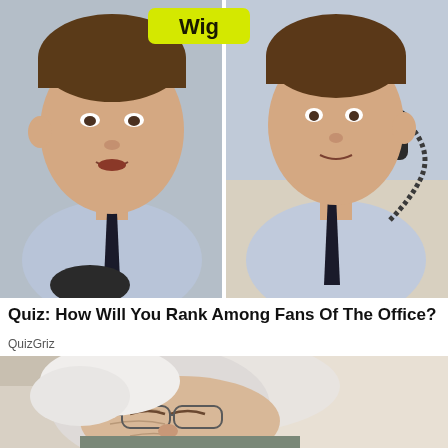[Figure (photo): Split image showing two photos of a young man in a light blue shirt and dark tie. Left panel: man facing forward. Right panel: man talking on a phone. Yellow 'Wig' label overlaid at top center.]
Quiz: How Will You Rank Among Fans Of The Office?
QuizGriz
[Figure (photo): Elderly person with white/grey hair and glasses, eyes closed, appearing to be asleep or resting, seated with light background.]